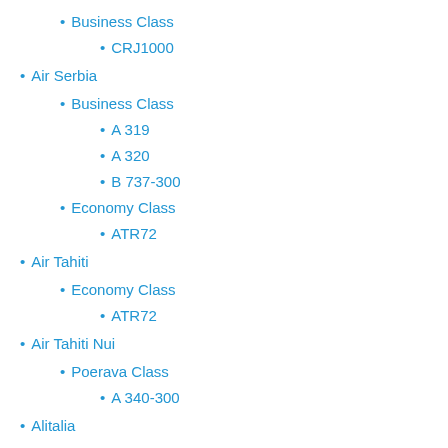Business Class
CRJ1000
Air Serbia
Business Class
A 319
A 320
B 737-300
Economy Class
ATR72
Air Tahiti
Economy Class
ATR72
Air Tahiti Nui
Poerava Class
A 340-300
Alitalia